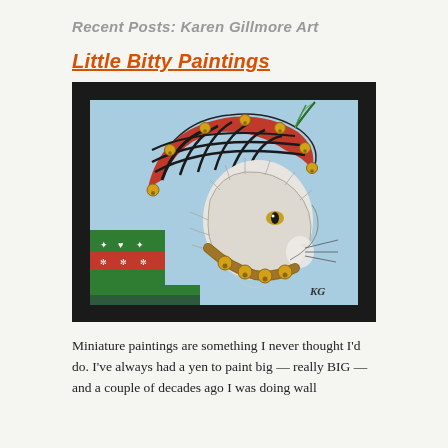Recent Posts: Karen Gillmore Art
Little Bitty Paintings
[Figure (illustration): Miniature watercolor painting of a fluffy white/grey cat wearing a jester-style hat with bells and a green feather, along with a collar adorned with bells and a Christmas-patterned sweater. Painted by KG, set against a light blue background. Image is mounted on a black background.]
Miniature paintings are something I never thought I'd do. I've always had a yen to paint big — really BIG — and a couple of decades ago I was doing wall